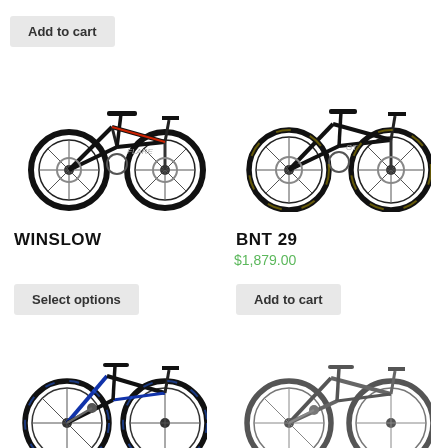Add to cart
[Figure (photo): WINSLOW mountain bike, black with red accents, hardtail style]
[Figure (photo): BNT 29 mountain bike, black hardtail 29er]
WINSLOW
BNT 29
$1,879.00
Select options
Add to cart
[Figure (photo): Full suspension mountain bike, black and blue, partially visible at bottom]
[Figure (photo): Full suspension mountain bike, grey/dark, partially visible at bottom]